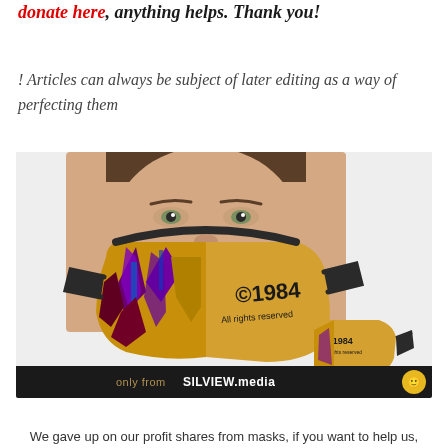donate here, anything helps. Thank you!
! Articles can always be subject of later editing as a way of perfecting them
[Figure (photo): Man wearing a face mask that is split design: left side colorful abstract art (purple, yellow, maroon), right side plain tan/gold with '©1984 All rights reserved' printed on it. A smaller standalone mask shown at bottom right. Banner at bottom reads 'only from SILVIEW.media']
We gave up on our profit shares from masks, if you want to help us,